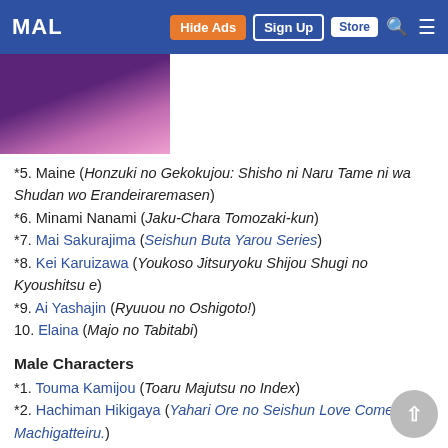MAL | Hide Ads | Sign Up | Store
[Figure (illustration): Partial view of an anime character with purple outfit and pink background]
*5. Maine (Honzuki no Gekokujou: Shisho ni Naru Tame ni wa Shudan wo Erandeiraremasen)
*6. Minami Nanami (Jaku-Chara Tomozaki-kun)
*7. Mai Sakurajima (Seishun Buta Yarou Series)
*8. Kei Karuizawa (Youkoso Jitsuryoku Shijou Shugi no Kyoushitsu e)
*9. Ai Yashajin (Ryuuou no Oshigoto!)
10. Elaina (Majo no Tabitabi)
Male Characters
*1. Touma Kamijou (Toaru Majutsu no Index)
*2. Hachiman Hikigaya (Yahari Ore no Seishun Love Comedy wa Machigatteiru.)
*3. Kazuto Kirigaya (Sword Art Online)
*4. Kiyotaka Ayanokouji (Youkoso Jitsuryoku Shijou Shugi no Kyoushitsu e)
*5. Shinei Nouzen (86)